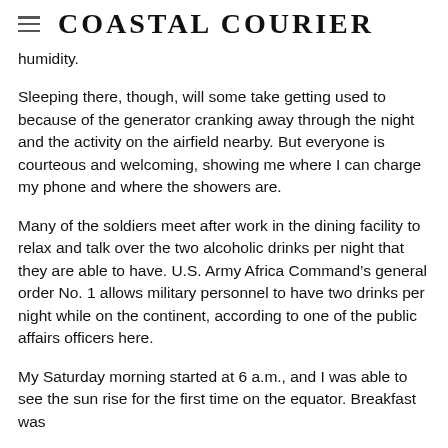Coastal Courier
humidity.
Sleeping there, though, will some take getting used to because of the generator cranking away through the night and the activity on the airfield nearby. But everyone is courteous and welcoming, showing me where I can charge my phone and where the showers are.
Many of the soldiers meet after work in the dining facility to relax and talk over the two alcoholic drinks per night that they are able to have. U.S. Army Africa Command’s general order No. 1 allows military personnel to have two drinks per night while on the continent, according to one of the public affairs officers here.
My Saturday morning started at 6 a.m., and I was able to see the sun rise for the first time on the equator. Breakfast was